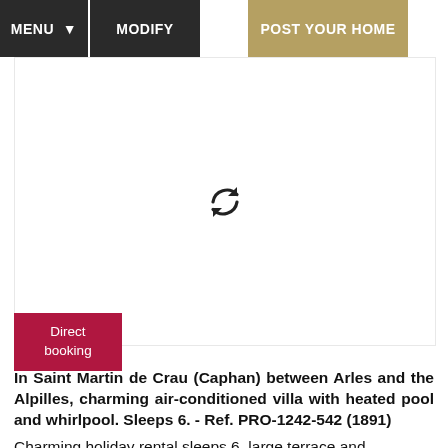MENU ▾   MODIFY   POST YOUR HOME
[Figure (screenshot): White image area with a loading/refresh icon (two circular arrows) in the center, indicating an image is loading.]
Direct booking
In Saint Martin de Crau (Caphan) between Arles and the Alpilles, charming air-conditioned villa with heated pool and whirlpool. Sleeps 6. - Ref. PRO-1242-542 (1891)
Charming holiday rental sleeps 6, large terrace and